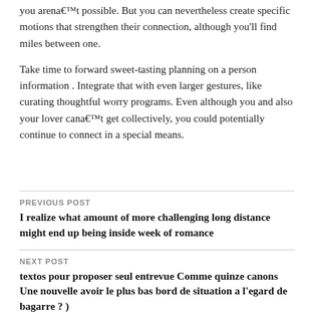you arena€™t possible. But you can nevertheless create specific motions that strengthen their connection, although you'll find miles between one.
Take time to forward sweet-tasting planning on a person information . Integrate that with even larger gestures, like curating thoughtful worry programs. Even although you and also your lover cana€™t get collectively, you could potentially continue to connect in a special means.
PREVIOUS POST
I realize what amount of more challenging long distance might end up being inside week of romance
NEXT POST
textos pour proposer seul entrevue Comme quinze canons Une nouvelle avoir le plus bas bord de situation a l'egard de bagarre ? )